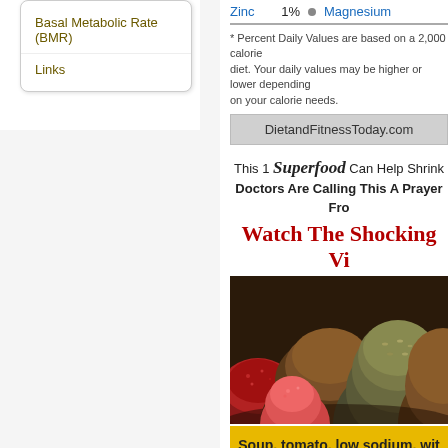Basal Metabolic Rate (BMR)
Links
Zinc   1%  •  Magnesium
* Percent Daily Values are based on a 2,000 calorie diet. Your daily values may be higher or lower depending on your calorie needs.
DietandFitnessToday.com
[Figure (advertisement): Ad with text: This 1 Superfood Can Help Shrink... Doctors Are Calling This A Prayer Fro... Watch The Shocking Vi...]
[Figure (photo): Photo of mounds of colorful ground spices and seeds]
Soup, tomato, low sodium, wit... Size